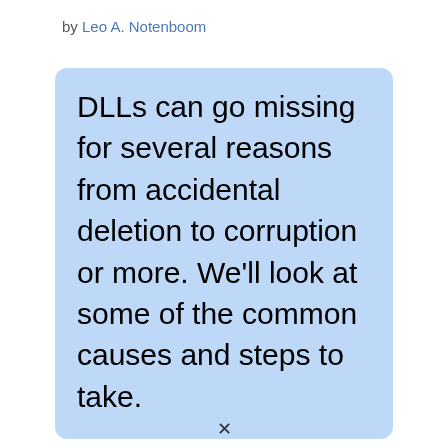by Leo A. Notenboom
DLLs can go missing for several reasons from accidental deletion to corruption or more. We'll look at some of the common causes and steps to take.